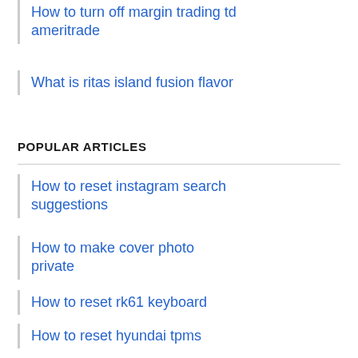How to turn off margin trading td ameritrade
What is ritas island fusion flavor
POPULAR ARTICLES
How to reset instagram search suggestions
How to make cover photo private
How to reset rk61 keyboard
How to reset hyundai tpms
How to remove blurred text
How to remove scribbles on a screenshot iphone